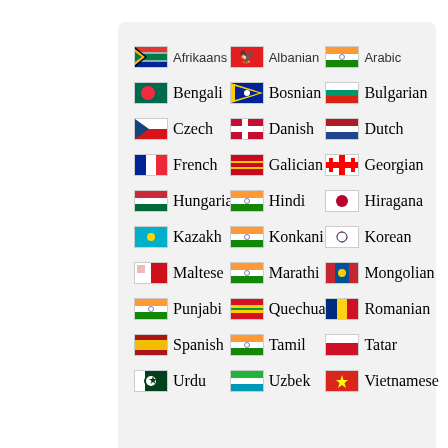[Figure (screenshot): A settings panel showing a grid of languages with flag icons in three columns. Languages listed: Afrikaans, Albanian, Arabic, Bengali, Bosnian, Bulgarian, Czech, Danish, Dutch, French, Galician, Georgian, Hungarian, Hindi, Hiragana, Kazakh, Konkani, Korean, Maltese, Marathi, Mongolian, Punjabi, Quechua, Romanian, Spanish, Tamil, Tatar, Urdu, Uzbek, Vietnamese]
To set the default keyboard